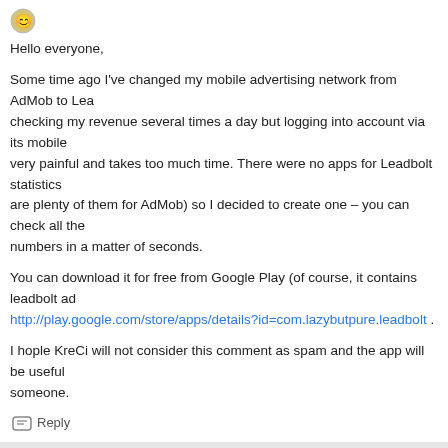[Figure (illustration): Small circular avatar/emoji icon]
Hello everyone,
Some time ago I've changed my mobile advertising network from AdMob to Lea... checking my revenue several times a day but logging into account via its mobile... very painful and takes too much time. There were no apps for Leadbolt statistics... are plenty of them for AdMob) so I decided to create one – you can check all the... numbers in a matter of seconds.
You can download it for free from Google Play (of course, it contains leadbolt ad... http://play.google.com/store/apps/details?id=com.lazybutpure.leadbolt .
I hople KreCi will not consider this comment as spam and the app will be useful... someone.
Reply
KreCi
June 5, 2012 at 6:46 am
Thanks for your app. I am using browser to access stats (2-3 times a day) a... for me. But if someone prefer an app this one looks pretty nice.
Reply